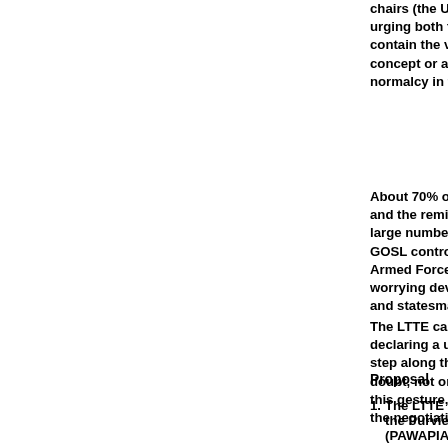chairs (the United States, the European U... urging both the GOSL and LTTE to take a... contain the violence and restore the peace... concept or a new mechanism ought to be c... normalcy in the north-east of Sri Lanka.
About 70% of the territory in the north-ea... and the reminder by the Government of S... large number of Tamil civilians including... GOSL controlled area in the north-east al... Armed Forces (SLAF). The international c... worrying development and eagerly looks t... and statesman-like step to break the curre...
The LTTE can claim to have initiated the... declaring a unilateral ceasefire in 2001. By... step along this line to contain the present v... doubt, not only will the international comm... this gesture, but this may also strengthen... the negotiating table.
Proposal
The LTTE agrees to Put Away Weap... the Purview of an International Arm... (PAWAPIAMB).